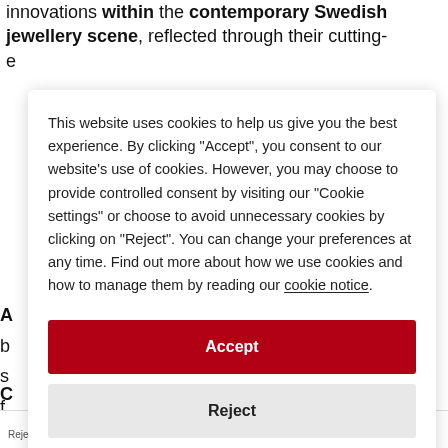innovations within the contemporary Swedish jewellery scene, reflected through their cutting-edge exhibitions and acquisitions
This website uses cookies to help us give you the best experience. By clicking "Accept", you consent to our website's use of cookies. However, you may choose to provide controlled consent by visiting our "Cookie settings" or choose to avoid unnecessary cookies by clicking on "Reject". You can change your preferences at any time. Find out more about how we use cookies and how to manage them by reading our cookie notice.
Accept
Reject
Cookie settings
Rejected | Cookie settings